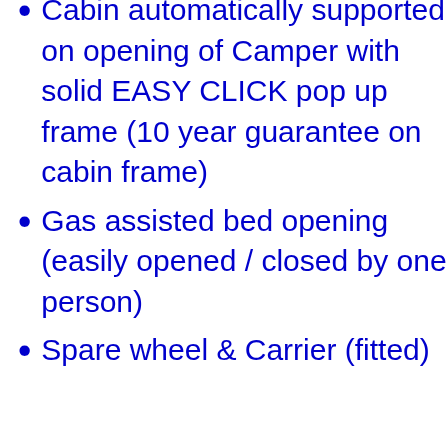Cabin automatically supported on opening of Camper with solid EASY CLICK pop up frame (10 year guarantee on cabin frame)
Gas assisted bed opening (easily opened / closed by one person)
Spare wheel & Carrier (fitted)